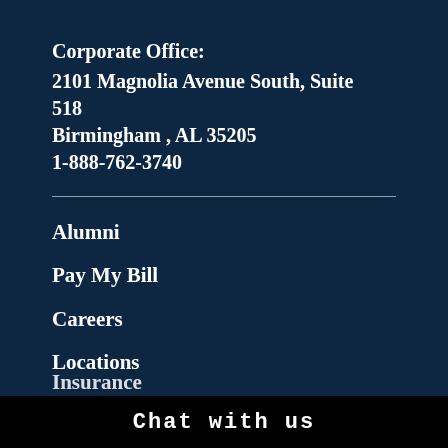Corporate Office:
2101 Magnolia Avenue South, Suite 518
Birmingham , AL 35205
1-888-762-3740
Alumni
Pay My Bill
Careers
Locations
Insurance
Chat with us